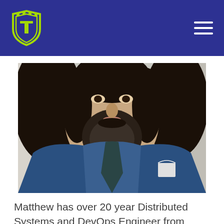TalentVault logo and navigation
[Figure (photo): Close-up photo of a man with long dark hair, beard, wearing a blue jacket and dark tie/scarf]
Matthew has over 20 year Distributed Systems and DevOps Engineer from Network Management systems to Satellites to Cell